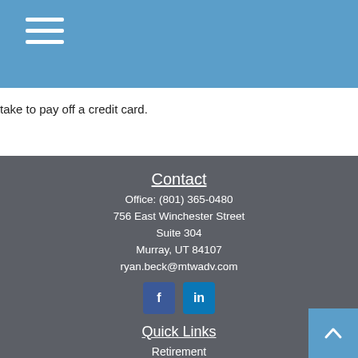Navigation menu icon (hamburger)
take to pay off a credit card.
Contact
Office: (801) 365-0480
756 East Winchester Street
Suite 304
Murray, UT 84107
ryan.beck@mtwadv.com
[Figure (logo): Facebook and LinkedIn social media icons]
Quick Links
Retirement
Investment
Estate